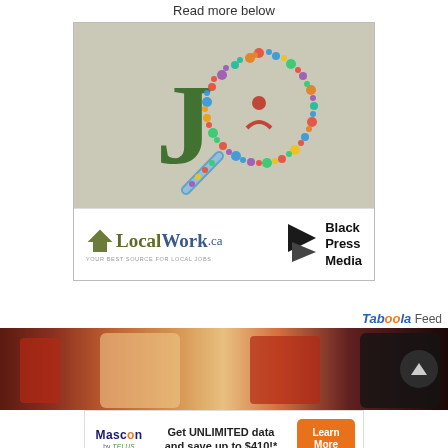Read more below
[Figure (logo): LocalWork.ca and Black Press Media advertisement with magnifying glass made of social media icons and a large green J, showing LocalWork.ca logo and YOUR BEST SOURCE FOR LOCAL JOBS tagline alongside Black Press Media logo]
Taboola Feed
[Figure (photo): Group of people outdoors, some wearing red shirts, with a scroll-up button overlay]
[Figure (logo): Mascon by TELUS advertisement: Get UNLIMITED data and save up to $410!* with Learn More orange button]